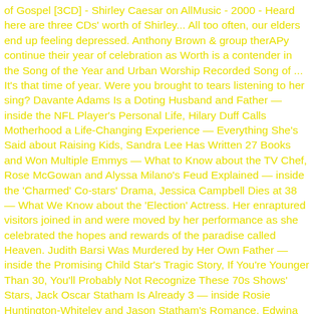of Gospel [3CD] - Shirley Caesar on AllMusic - 2000 - Heard here are three CDs' worth of Shirley... All too often, our elders end up feeling depressed. Anthony Brown & group therAPy continue their year of celebration as Worth is a contender in the Song of the Year and Urban Worship Recorded Song of ... It's that time of year. Were you brought to tears listening to her sing? Davante Adams Is a Doting Husband and Father — inside the NFL Player's Personal Life, Hilary Duff Calls Motherhood a Life-Changing Experience — Everything She's Said about Raising Kids, Sandra Lee Has Written 27 Books and Won Multiple Emmys — What to Know about the TV Chef, Rose McGowan and Alyssa Milano's Feud Explained — inside the 'Charmed' Co-stars' Drama, Jessica Campbell Dies at 38 — What We Know about the 'Election' Actress. Her enraptured visitors joined in and were moved by her performance as she celebrated the hopes and rewards of the paradise called Heaven. Judith Barsi Was Murdered by Her Own Father — inside the Promising Child Star's Tragic Story, If You're Younger Than 30, You'll Probably Not Recognize These 70s Shows' Stars, Jack Oscar Statham Is Already 3 — inside Rosie Huntington-Whiteley and Jason Statham's Romance, Edwina Findley Dickerson Always Had a Strong Relationship with God — Facts about the Actress. It's normal as you age because life no longer seems to be what it was. "Born This Way" is a song by American singer Lady Gaga, and the lead single from her second studio album of the same name. Tyscot Records, the nation's oldest Black Gospel label is associated with the...